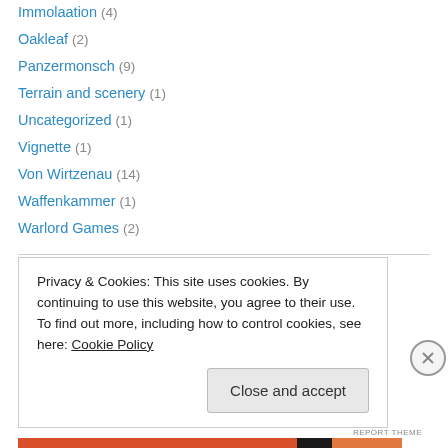Immolaation (4)
Oakleaf (2)
Panzermonsch (9)
Terrain and scenery (1)
Uncategorized (1)
Vignette (1)
Von Wirtzenau (14)
Waffenkammer (1)
Warlord Games (2)
Blogs I Follow
Rust and the City
Privacy & Cookies: This site uses cookies. By continuing to use this website, you agree to their use. To find out more, including how to control cookies, see here: Cookie Policy
Close and accept